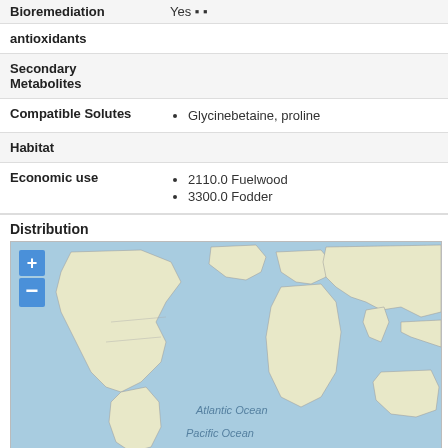| Property | Value |
| --- | --- |
| Bioremediation | Yes |
| antioxidants |  |
| Secondary Metabolites |  |
| Compatible Solutes | Glycinebetaine, proline |
| Habitat |  |
| Economic use | 2110.0 Fuelwood
3300.0 Fodder |
Distribution
[Figure (map): World distribution map showing continents in light yellow-green on a blue ocean background, with Atlantic Ocean and Pacific Ocean labels visible. Zoom controls (+/-) in top-left corner.]